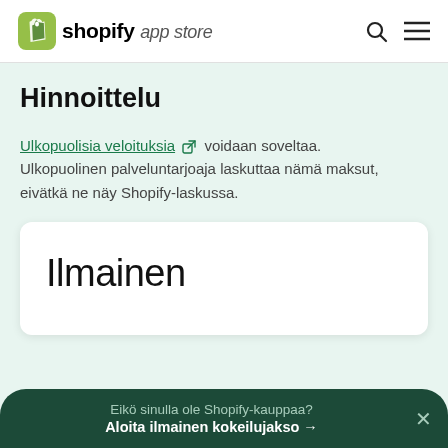shopify app store
Hinnoittelu
Ulkopuolisia veloituksia voidaan soveltaa. Ulkopuolinen palveluntarjoaja laskuttaa nämä maksut, eivätkä ne näy Shopify-laskussa.
Ilmainen
Eikö sinulla ole Shopify-kauppaa? Aloita ilmainen kokeilujakso →